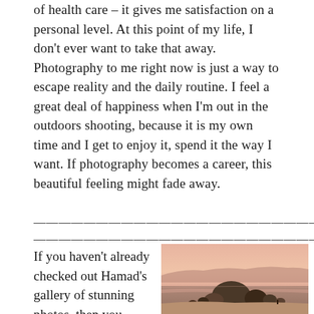of health care – it gives me satisfaction on a personal level. At this point of my life, I don't ever want to take that away. Photography to me right now is just a way to escape reality and the daily routine. I feel a great deal of happiness when I'm out in the outdoors shooting, because it is my own time and I get to enjoy it, spend it the way I want. If photography becomes a career, this beautiful feeling might fade away.
——————————————————————————————————————————————————————
If you haven't already checked out Hamad's gallery of stunning photos, then you should hit
[Figure (photo): A coastal landscape photo showing large rocks on a beach at sunset with pink and orange sky, ocean water, and a small figure visible near the shoreline.]